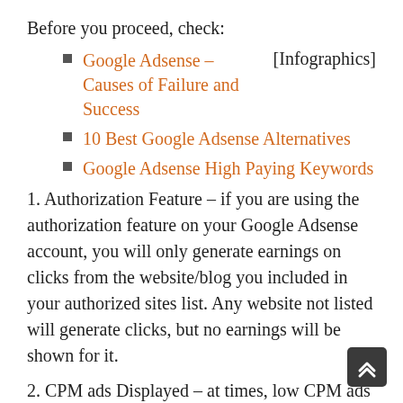Before you proceed, check:
Google Adsense – Causes of Failure and Success [Infographics]
10 Best Google Adsense Alternatives
Google Adsense High Paying Keywords
1. Authorization Feature – if you are using the authorization feature on your Google Adsense account, you will only generate earnings on clicks from the website/blog you included in your authorized sites list. Any website not listed will generate clicks, but no earnings will be shown for it.
2. CPM ads Displayed – at times, low CPM ads may be served on your website/blog. For instance when an advertiser pays as little as $0.60 for each 1000 impressions of an ad, that simply means each impression worth $0.0006. With 9 ad impressions,